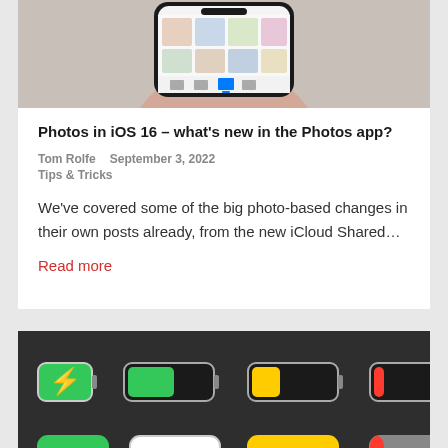[Figure (photo): Hand holding a smartphone showing the Photos app interface on iOS 16, cropped at top]
Photos in iOS 16 – what's new in the Photos app?
Tom Rolfe  September 3, 2022
Tips & Tricks
We've covered some of the big photo-based changes in their own posts already, from the new iCloud Shared…
Read more
[Figure (photo): Battery icons illustration on dark background showing various battery states: charging (green with lightning bolt), full green, yellow half, red low, and percentage indicators showing 100+, 50, 50, 10]